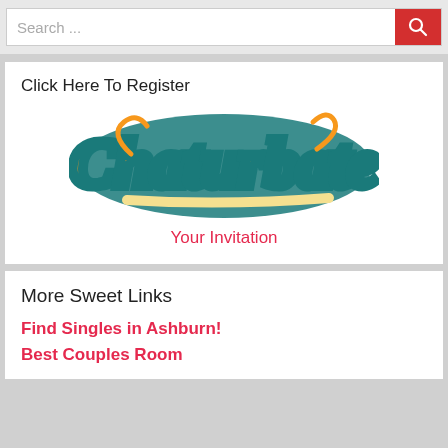Search ...
Click Here To Register
[Figure (logo): Chaturbate logo in orange script with teal/blue outline and yellow underline stroke]
Your Invitation
More Sweet Links
Find Singles in Ashburn!
Best Couples Room